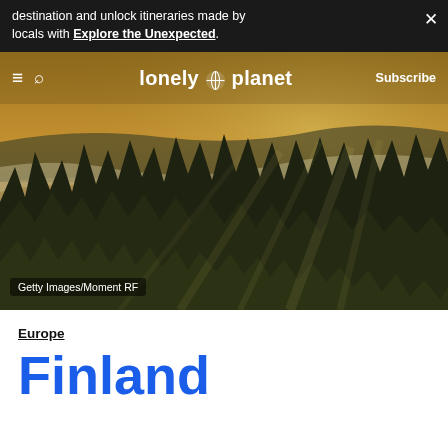destination and unlock itineraries made by locals with Explore the Unexpected.
[Figure (photo): Aerial view of misty pine forest landscape at golden hour, with fog rolling through trees and warm sunlight rays. Navigation bar with Lonely Planet logo overlaid. Photo credit: Getty Images/Moment RF]
Europe
Finland